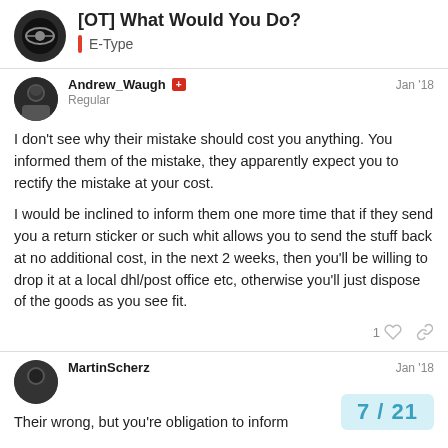[OT] What Would You Do? · E-Type
Andrew_Waugh · Regular · Jan '18
I don't see why their mistake should cost you anything. You informed them of the mistake, they apparently expect you to rectify the mistake at your cost.

I would be inclined to inform them one more time that if they send you a return sticker or such whit allows you to send the stuff back at no additional cost, in the next 2 weeks, then you'll be willing to drop it at a local dhl/post office etc, otherwise you'll just dispose of the goods as you see fit.
MartinScherz · Jan '18
Their wrong, but you're obligation to inform
7 / 21